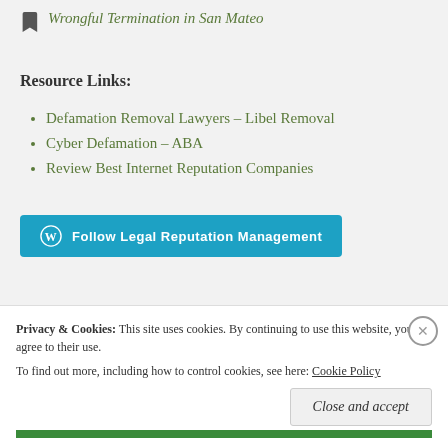Wrongful Termination in San Mateo
Resource Links:
Defamation Removal Lawyers – Libel Removal
Cyber Defamation – ABA
Review Best Internet Reputation Companies
Follow Legal Reputation Management
Privacy & Cookies: This site uses cookies. By continuing to use this website, you agree to their use. To find out more, including how to control cookies, see here: Cookie Policy
Close and accept